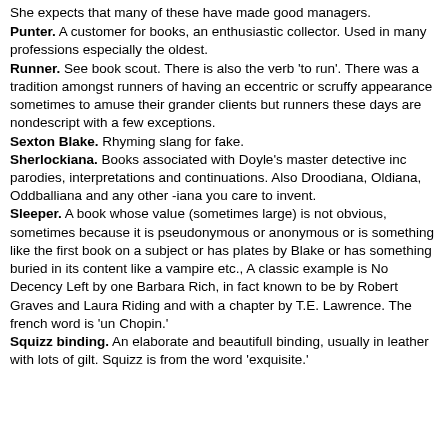She expects that many of these have made good managers.
Punter. A customer for books, an enthusiastic collector. Used in many professions especially the oldest.
Runner. See book scout. There is also the verb 'to run'. There was a tradition amongst runners of having an eccentric or scruffy appearance sometimes to amuse their grander clients but runners these days are nondescript with a few exceptions.
Sexton Blake. Rhyming slang for fake.
Sherlockiana. Books associated with Doyle's master detective inc parodies, interpretations and continuations. Also Droodiana, Oldiana, Oddballiana and any other -iana you care to invent.
Sleeper. A book whose value (sometimes large) is not obvious, sometimes because it is pseudonymous or anonymous or is something like the first book on a subject or has plates by Blake or has something buried in its content like a vampire etc., A classic example is No Decency Left by one Barbara Rich, in fact known to be by Robert Graves and Laura Riding and with a chapter by T.E. Lawrence. The french word is 'un Chopin.'
Squizz binding. An elaborate and beautifull binding, usually in leather with lots of gilt. Squizz is from the word 'exquisite.'